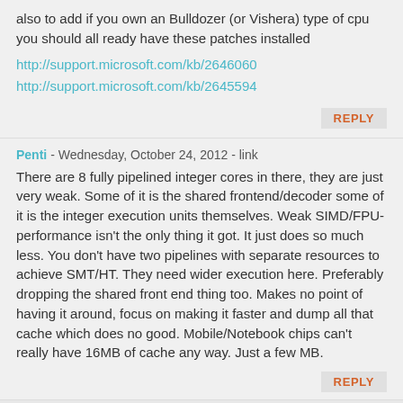also to add if you own an Bulldozer (or Vishera) type of cpu you should all ready have these patches installed
http://support.microsoft.com/kb/2646060
http://support.microsoft.com/kb/2645594
REPLY
Penti - Wednesday, October 24, 2012 - link
There are 8 fully pipelined integer cores in there, they are just very weak. Some of it is the shared frontend/decoder some of it is the integer execution units themselves. Weak SIMD/FPU-performance isn't the only thing it got. It just does so much less. You don't have two pipelines with separate resources to achieve SMT/HT. They need wider execution here. Preferably dropping the shared front end thing too. Makes no point of having it around, focus on making it faster and dump all that cache which does no good. Mobile/Notebook chips can't really have 16MB of cache any way. Just a few MB.
REPLY
DDR4 - Wednesday, November 7, 2012 - link
It's just a marketing thing, the cores don't have that much power, AMD's just looking to do better than Intel in one area.